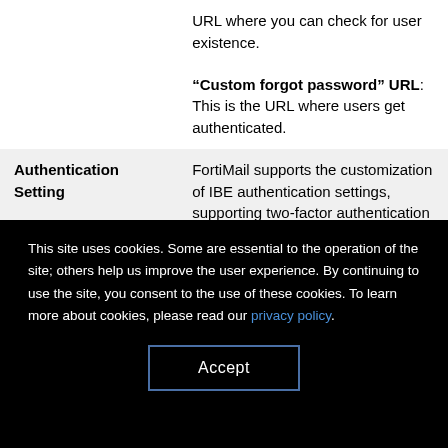|  | URL where you can check for user existence. |
|  | "Custom forgot password" URL: This is the URL where users get authenticated. |
| Authentication Setting | FortiMail supports the customization of IBE authentication settings, supporting two-factor authentication through the use of one-time password (OTP) tokens and |
This site uses cookies. Some are essential to the operation of the site; others help us improve the user experience. By continuing to use the site, you consent to the use of these cookies. To learn more about cookies, please read our privacy policy.